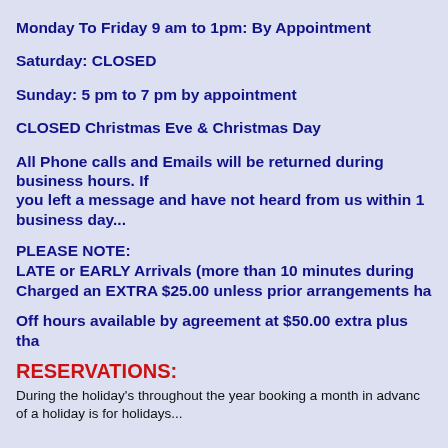Monday To Friday 9 am to 1pm: By Appointment
Saturday: CLOSED
Sunday: 5 pm to 7 pm by appointment
CLOSED Christmas Eve & Christmas Day
All Phone calls and Emails will be returned during business hours. If you left a message and have not heard from us within 1 b...
PLEASE NOTE:
LATE or EARLY Arrivals (more than 10 minutes during...
Charged an EXTRA $25.00 unless prior arrangements ha...
Off hours available by agreement at $50.00 extra plus tha...
RESERVATIONS:
During the holiday's throughout the year booking a month in advance...